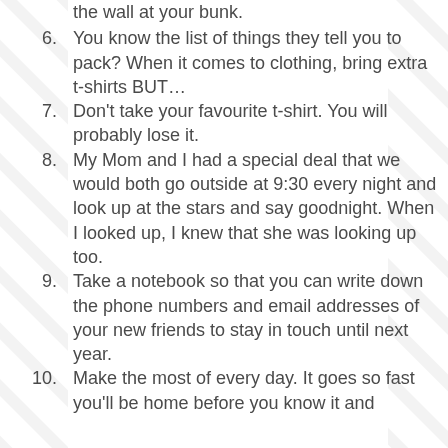the wall at your bunk.
You know the list of things they tell you to pack? When it comes to clothing, bring extra t-shirts BUT…
Don't take your favourite t-shirt. You will probably lose it.
My Mom and I had a special deal that we would both go outside at 9:30 every night and look up at the stars and say goodnight. When I looked up, I knew that she was looking up too.
Take a notebook so that you can write down the phone numbers and email addresses of your new friends to stay in touch until next year.
Make the most of every day. It goes so fast you'll be home before you know it and